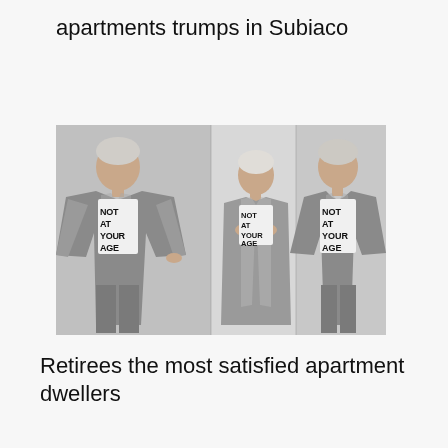apartments trumps in Subiaco
[Figure (photo): Three poses of an older woman with white/grey hair wearing a silver metallic jacket and a white t-shirt that reads 'NOT AT YOUR AGE'. Left: standing with hands on hips facing forward. Center: looking down, reading the shirt text. Right: standing facing forward, similar to left pose.]
Retirees the most satisfied apartment dwellers